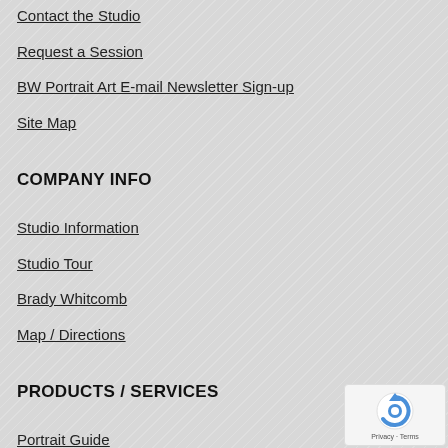Contact the Studio
Request a Session
BW Portrait Art E-mail Newsletter Sign-up
Site Map
COMPANY INFO
Studio Information
Studio Tour
Brady Whitcomb
Map / Directions
PRODUCTS / SERVICES
Portrait Guide
BW Portrait Art Blog
[Figure (other): reCAPTCHA badge with Privacy and Terms links]